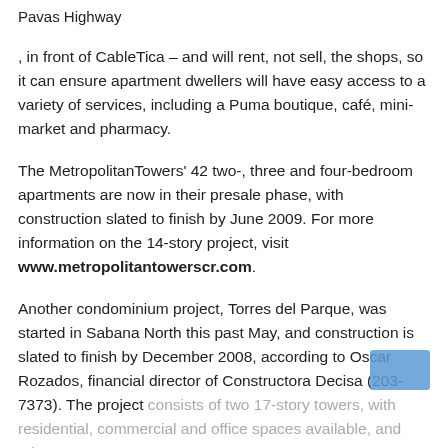Pavas Highway
, in front of CableTica – and will rent, not sell, the shops, so it can ensure apartment dwellers will have easy access to a variety of services, including a Puma boutique, café, mini-market and pharmacy.
The MetropolitanTowers' 42 two-, three and four-bedroom apartments are now in their presale phase, with construction slated to finish by June 2009. For more information on the 14-story project, visit www.metropolitantowerscr.com.
Another condominium project, Torres del Parque, was started in Sabana North this past May, and construction is slated to finish by December 2008, according to Oscar Rozados, financial director of Constructora Decisa (203-7373). The project consists of two 17-story towers, with residential, commercial and office spaces available, and takes up 3,000 square meters